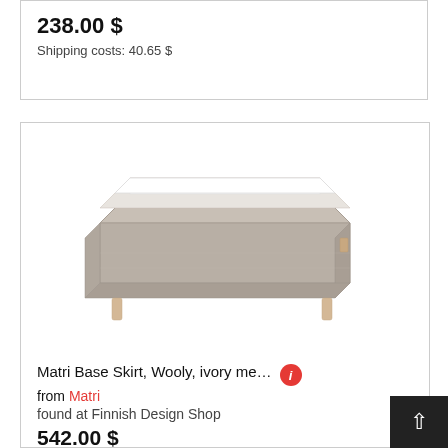238.00 $
Shipping costs: 40.65 $
[Figure (photo): Product photo of Matri Base Skirt bed base, upholstered in ivory/beige wooly fabric with light wooden legs, viewed from an angle showing the top and front corner.]
Matri Base Skirt, Wooly, ivory me…
from Matri
found at Finnish Design Shop
542.00 $